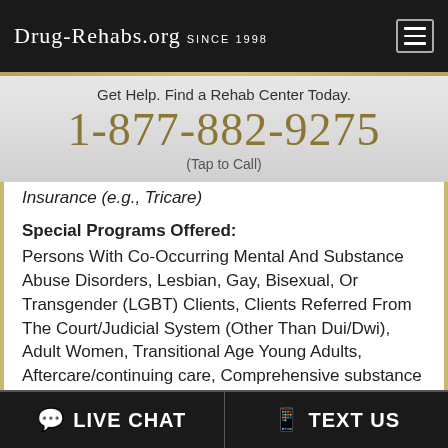Drug-Rehabs.org Since 1998
Get Help. Find a Rehab Center Today.
1-877-882-9275
(Tap to Call)
Insurance (e.g., Tricare)
Special Programs Offered: Persons With Co-Occurring Mental And Substance Abuse Disorders, Lesbian, Gay, Bisexual, Or Transgender (LGBT) Clients, Clients Referred From The Court/Judicial System (Other Than Dui/Dwi), Adult Women, Transitional Age Young Adults, Aftercare/continuing care, Comprehensive substance abuse assessment, Drug or alcohol urine screening, Discharge Planning, Family counseling offered, Housing services, Individual counseling offered,
LIVE CHAT   TEXT US